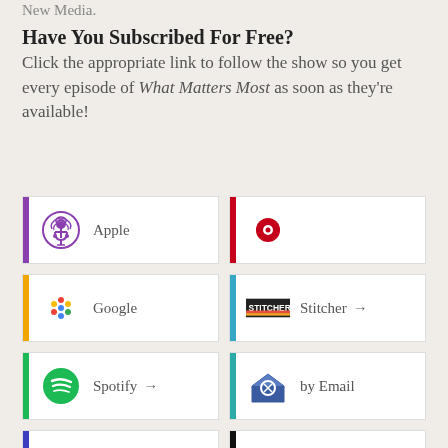New Media.
Have You Subscribed For Free?
Click the appropriate link to follow the show so you get every episode of What Matters Most as soon as they're available!
[Figure (infographic): Grid of podcast subscription buttons: Apple, iHeartRadio, Google, Stitcher, Spotify, by Email, Amazon, TuneIn, and two partially visible buttons at the bottom.]